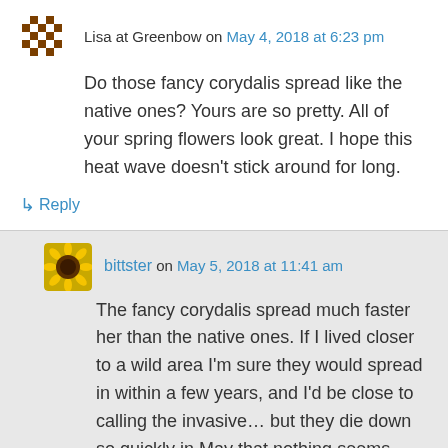Lisa at Greenbow on May 4, 2018 at 6:23 pm
Do those fancy corydalis spread like the native ones? Yours are so pretty. All of your spring flowers look great. I hope this heat wave doesn't stick around for long.
↳ Reply
bittster on May 5, 2018 at 11:41 am
The fancy corydalis spread much faster her than the native ones. If I lived closer to a wild area I'm sure they would spread in within a few years, and I'd be close to calling the invasive… but they die down so quickly in May that nothing seems